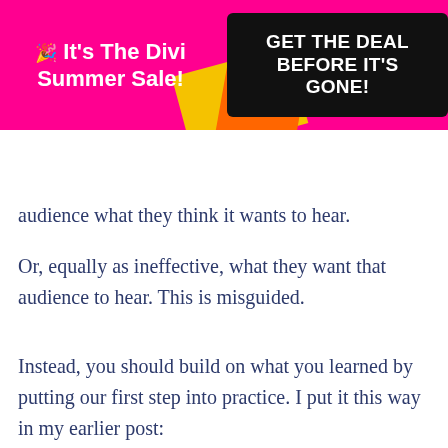[Figure (other): Promotional banner for Divi Summer Sale with pink background, yellow and orange decorative shapes. Left side shows white bold text '🎉 It's The Divi Summer Sale!' and right side shows black button with white text 'GET THE DEAL BEFORE IT'S GONE!']
[Figure (logo): Elegant Themes logo: stylized text 'elegant' with asterisk star above the 't', and 'themes' in small spaced letters below. Pink hamburger menu icon on right.]
audience what they think it wants to hear.
Or, equally as ineffective, what they want that audience to hear. This is misguided.
Instead, you should build on what you learned by putting our first step into practice. I put it this way in my earlier post: